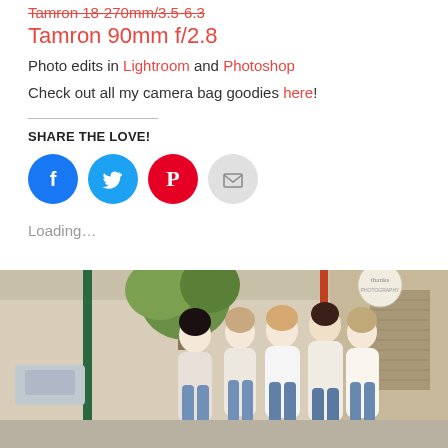Tamron 18-270mm/3.5-6.3 (strikethrough)
Tamron 90mm f/2.8
Photo edits in Lightroom and Photoshop
Check out all my camera bag goodies here!
SHARE THE LOVE!
[Figure (infographic): Social sharing buttons: Facebook (blue circle), Twitter (light blue circle), Pinterest (red circle), Email (grey circle)]
Loading...
[Figure (photo): Group of five people (four women and one man) walking together on a sidewalk in front of a building, wearing white and light-colored tops with jeans. There is a green lamp post on the left and trees in the background.]